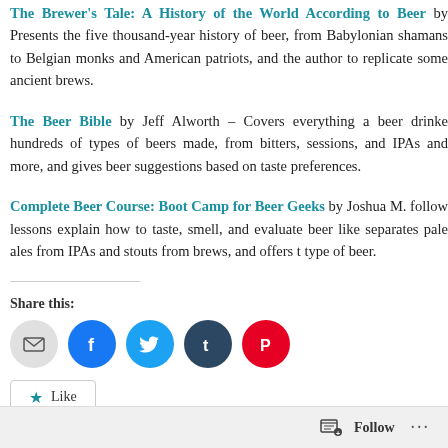The Brewer's Tale: A History of the World According to Beer by ... Presents the five thousand-year history of beer, from Babylonian shamans to Belgian monks and American patriots, and the author to replicate some ancient brews.
The Beer Bible by Jeff Alworth – Covers everything a beer drinker hundreds of types of beers made, from bitters, sessions, and IPAs and more, and gives beer suggestions based on taste preferences.
Complete Beer Course: Boot Camp for Beer Geeks by Joshua M. follow lessons explain how to taste, smell, and evaluate beer like separates pale ales from IPAs and stouts from brews, and offers type of beer.
Share this:
[Figure (infographic): Social sharing icons: email (grey), facebook (blue), twitter (cyan), tumblr (dark navy), pinterest (red)]
Like
Follow ...